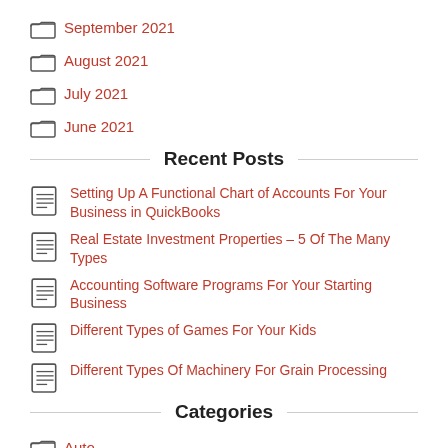September 2021
August 2021
July 2021
June 2021
Recent Posts
Setting Up A Functional Chart of Accounts For Your Business in QuickBooks
Real Estate Investment Properties – 5 Of The Many Types
Accounting Software Programs For Your Starting Business
Different Types of Games For Your Kids
Different Types Of Machinery For Grain Processing
Categories
Auto